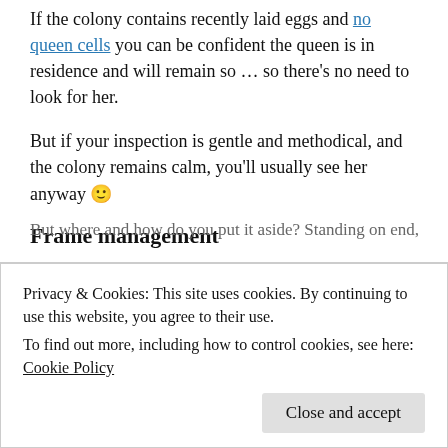If the colony contains recently laid eggs and no queen cells you can be confident the queen is in residence and will remain so ... so there's no need to look for her.
But if your inspection is gentle and methodical, and the colony remains calm, you'll usually see her anyway 🙂
Frame management
Remove the dummy board, shake the bees off it (onto the top bars) and lay it aside 9.
But where and how do you put it aside? Standing on end,
Privacy & Cookies: This site uses cookies. By continuing to use this website, you agree to their use.
To find out more, including how to control cookies, see here: Cookie Policy